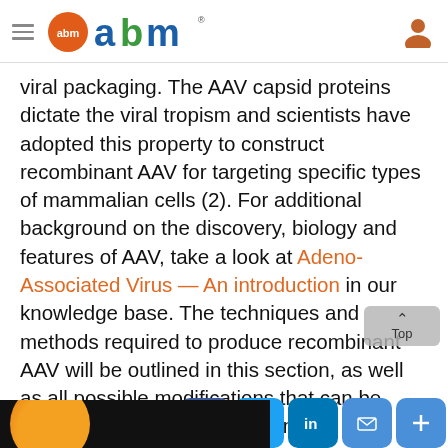abm (logo)
viral packaging. The AAV capsid proteins dictate the viral tropism and scientists have adopted this property to construct recombinant AAV for targeting specific types of mammalian cells (2). For additional background on the discovery, biology and features of AAV, take a look at Adeno-Associated Virus — An introduction in our knowledge base. The techniques and methods required to produce recombinant AAV will be outlined in this section, as well as all possible modifications that can be performed on the AAV platform.